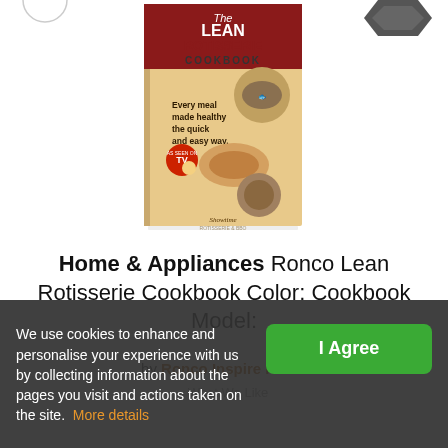[Figure (illustration): Book cover of 'The Lean Rotisserie Cookbook' showing food images — fish, poultry, and a mixed dish — with subtitle 'Every meal made healthy the quick and easy way.' and an 'As Seen on TV' badge. Author shown as Showtime Rotisserie & BBQ.]
Home & Appliances Ronco Lean Rotisserie Cookbook Color: Cookbook Model:
by Ronco Inspire Home
- What We Like
We use cookies to enhance and personalise your experience with us by collecting information about the pages you visit and actions taken on the site. More details
I Agree